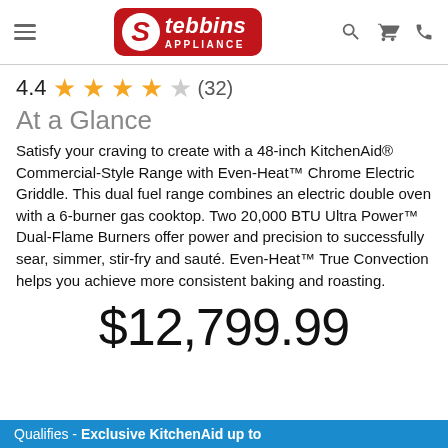[Figure (logo): Stebbins Appliance logo — red rounded rectangle with white S in circle and white italic text 'Stebbins APPLIANCE']
4.4 ★★★★☆ (32)
At a Glance
Satisfy your craving to create with a 48-inch KitchenAid® Commercial-Style Range with Even-Heat™ Chrome Electric Griddle. This dual fuel range combines an electric double oven with a 6-burner gas cooktop. Two 20,000 BTU Ultra Power™ Dual-Flame Burners offer power and precision to successfully sear, simmer, stir-fry and sauté. Even-Heat™ True Convection helps you achieve more consistent baking and roasting.
$12,799.99
Qualifies - Exclusive KitchenAid up to